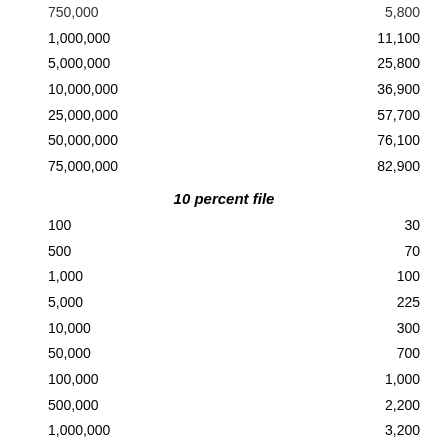|  |  |
| --- | --- |
| 750,000 | 5,800 |
| 1,000,000 | 11,100 |
| 5,000,000 | 25,800 |
| 10,000,000 | 36,900 |
| 25,000,000 | 57,700 |
| 50,000,000 | 76,100 |
| 75,000,000 | 82,900 |
10 percent file
|  |  |
| --- | --- |
| 100 | 30 |
| 500 | 70 |
| 1,000 | 100 |
| 5,000 | 225 |
| 10,000 | 300 |
| 50,000 | 700 |
| 100,000 | 1,000 |
| 500,000 | 2,200 |
| 1,000,000 | 3,200 |
| 2,000,000 | 4,300 |
| 3,000,000 | 5,300 |
| 5,000,000 | 6,500 |
| 10,000,000 | 8,500 |